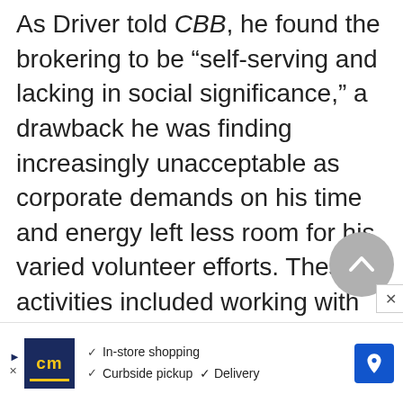As Driver told CBB, he found the brokering to be “self-serving and lacking in social significance,” a drawback he was finding increasingly unacceptable as corporate demands on his time and energy left less room for his varied volunteer efforts. These activities included working with the Boys and Girls Clubs of America, coaching a basketball team of homeless children, and speaking to bla... Wa...
[Figure (other): Gray circular scroll-to-top button with upward chevron arrow]
[Figure (other): Advertisement bar: cm logo, In-store shopping, Curbside pickup, Delivery checkmarks, blue navigation arrow icon]